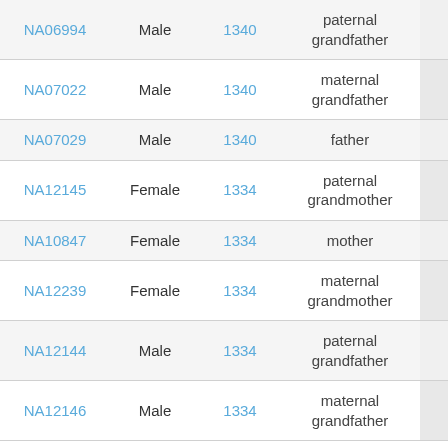| NA06994 | Male | 1340 | paternal grandfather |  |
| NA07022 | Male | 1340 | maternal grandfather |  |
| NA07029 | Male | 1340 | father |  |
| NA12145 | Female | 1334 | paternal grandmother |  |
| NA10847 | Female | 1334 | mother |  |
| NA12239 | Female | 1334 | maternal grandmother |  |
| NA12144 | Male | 1334 | paternal grandfather |  |
| NA12146 | Male | 1334 | maternal grandfather |  |